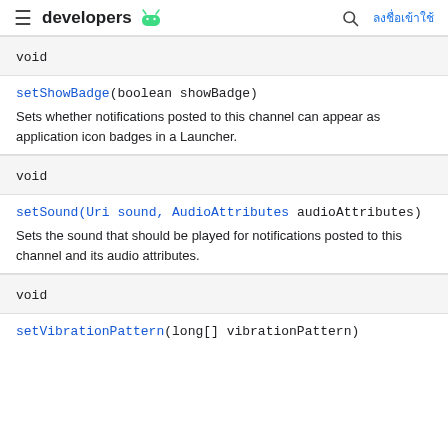≡ developers [android icon] ลงชื่อเข้าใช้
void
setShowBadge(boolean showBadge)
Sets whether notifications posted to this channel can appear as application icon badges in a Launcher.
void
setSound(Uri sound, AudioAttributes audioAttributes)
Sets the sound that should be played for notifications posted to this channel and its audio attributes.
void
setVibrationPattern(long[] vibrationPattern)